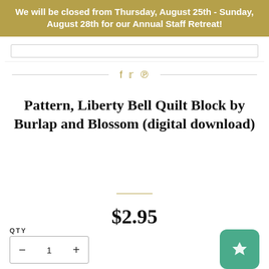We will be closed from Thursday, August 25th - Sunday, August 28th for our Annual Staff Retreat!
Pattern, Liberty Bell Quilt Block by Burlap and Blossom (digital download)
$2.95
QTY
1